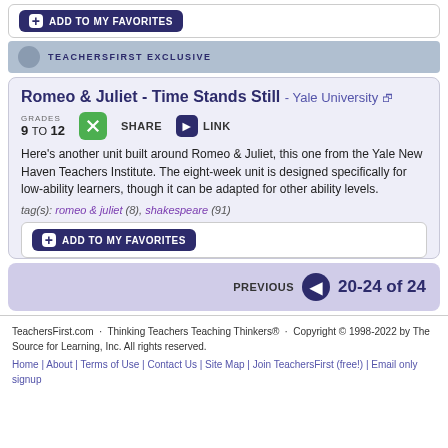+ ADD TO MY FAVORITES
TEACHERSFIRST EXCLUSIVE
Romeo & Juliet - Time Stands Still - Yale University
GRADES 9 TO 12
SHARE   LINK
Here's another unit built around Romeo & Juliet, this one from the Yale New Haven Teachers Institute. The eight-week unit is designed specifically for low-ability learners, though it can be adapted for other ability levels.
tag(s): romeo & juliet (8), shakespeare (91)
+ ADD TO MY FAVORITES
PREVIOUS  20-24 of 24
TeachersFirst.com · Thinking Teachers Teaching Thinkers® · Copyright © 1998-2022 by The Source for Learning, Inc. All rights reserved.
Home | About | Terms of Use | Contact Us | Site Map | Join TeachersFirst (free!) | Email only signup